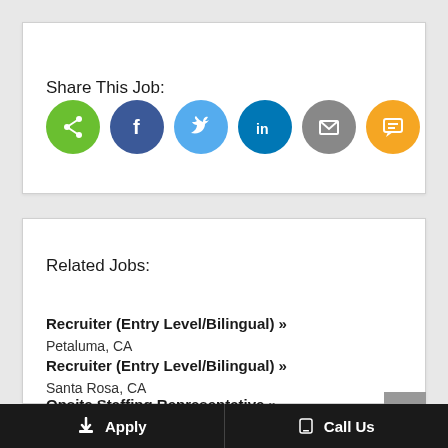Share This Job:
[Figure (infographic): Row of six circular social sharing icons: share (green), Facebook (dark blue), Twitter (light blue), LinkedIn (dark teal), Email (gray), SMS (yellow/orange)]
Related Jobs:
Recruiter (Entry Level/Bilingual) »
Petaluma, CA
Recruiter (Entry Level/Bilingual) »
Santa Rosa, CA
Onsite Staffing Representative »
Santa Rosa, CA
Apply   Call Us